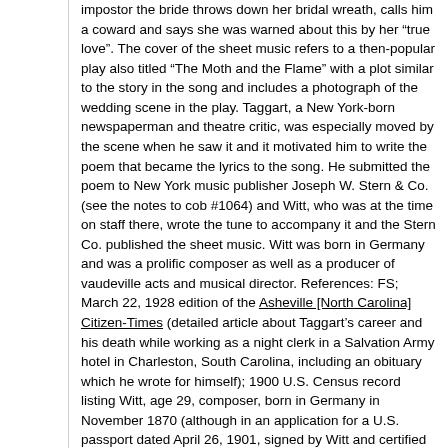impostor the bride throws down her bridal wreath, calls him a coward and says she was warned about this by her "true love". The cover of the sheet music refers to a then-popular play also titled "The Moth and the Flame" with a plot similar to the story in the song and includes a photograph of the wedding scene in the play. Taggart, a New York-born newspaperman and theatre critic, was especially moved by the scene when he saw it and it motivated him to write the poem that became the lyrics to the song. He submitted the poem to New York music publisher Joseph W. Stern & Co. (see the notes to cob #1064) and Witt, who was at the time on staff there, wrote the tune to accompany it and the Stern Co. published the sheet music. Witt was born in Germany and was a prolific composer as well as a producer of vaudeville acts and musical director. References: FS; March 22, 1928 edition of the Asheville [North Carolina] Citizen-Times (detailed article about Taggart's career and his death while working as a night clerk in a Salvation Army hotel in Charleston, South Carolina, including an obituary which he wrote for himself); 1900 U.S. Census record listing Witt, age 29, composer, born in Germany in November 1870 (although in an application for a U.S. passport dated April 26, 1901, signed by Witt and certified by Joseph W. Stern, his birth date is stated in two places as November 12, 1871 and his age as 29; in the same document, Witt's height is stated to be